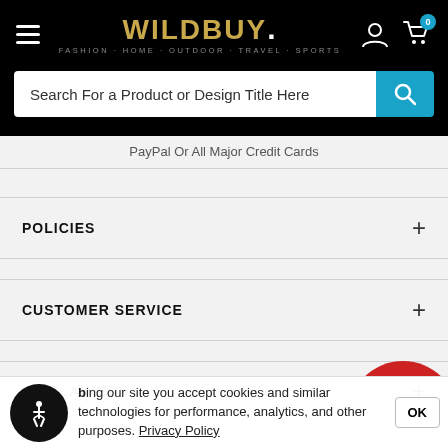WILDBUY. FASHION · HOME · OUTDOOR · TRAVEL · SPORTS
Search For a Product or Design Title Here
PayPal Or All Major Credit Cards
POLICIES +
CUSTOMER SERVICE +
DISCLAIMERS +
By using our site you accept cookies and similar technologies for performance, analytics, and other purposes. Privacy Policy